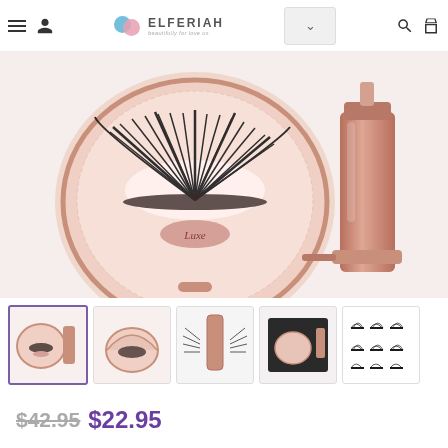ELFERIAH — beauty for love — navigation header with hamburger menu, user icon, logo, dropdown, search, and bag icons
[Figure (photo): Top-down view of a rose gold magnetic eyelash kit: a round rose gold compact containing fluffy false lashes labeled 'Luxe', alongside a rose gold mascara wand/tube and applicator tool on a white background]
[Figure (photo): Thumbnail 1 (selected): Rose gold magnetic lash compact and mascara tube product set, top view]
[Figure (photo): Thumbnail 2: Open rose gold compact showing magnetic lashes inside]
[Figure (photo): Thumbnail 3: Rose gold mascara tube with striped lashes fanned out]
[Figure (photo): Thumbnail 4: Square box with rose gold compact and mascara on light pink background]
[Figure (photo): Thumbnail 5: Grid of multiple lash style variations in black and white]
$42.95 $22.95